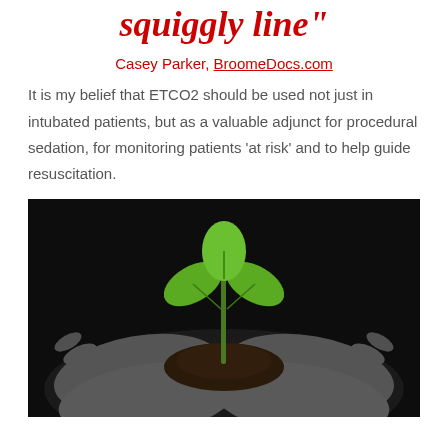squiggly line"
Casey Parker, BroomeDocs.com
It is my belief that ETCO2 should be used not just in intubated patients, but as a valuable adjunct for procedural sedation, for monitoring patients 'at risk' and to help guide resuscitation.
[Figure (photo): Black and white photograph of two cupped hands holding dark soil with a small green seedling sprouting from it, against a black background.]